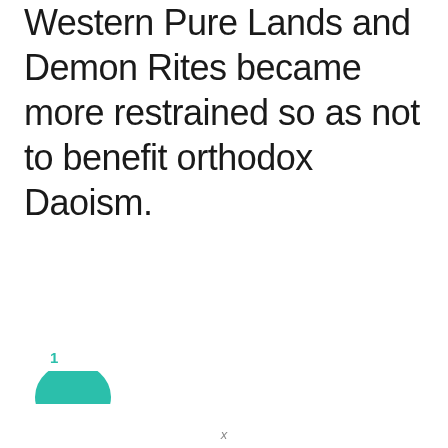Western Pure Lands and Demon Rites became more restrained so as not to benefit orthodox Daoism.
[Figure (other): Teal/green semicircle icon with the number 1 above it, representing a page or section indicator at the bottom left of the page.]
x